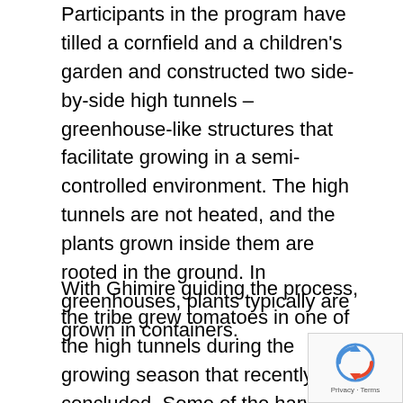Participants in the program have tilled a cornfield and a children's garden and constructed two side-by-side high tunnels – greenhouse-like structures that facilitate growing in a semi-controlled environment. The high tunnels are not heated, and the plants grown inside them are rooted in the ground. In greenhouses, plants typically are grown in containers.
With Ghimire guiding the process, the tribe grew tomatoes in one of the high tunnels during the growing season that recently concluded. Some of the harvest was sold at a stand on the reservation to tribal members, employees and the community. The plan is to